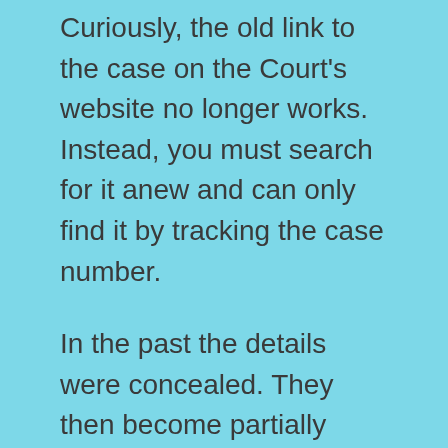Curiously, the old link to the case on the Court's website no longer works. Instead, you must search for it anew and can only find it by tracking the case number.
In the past the details were concealed. They then become partially accessible: now it has been decided to conceal them again.